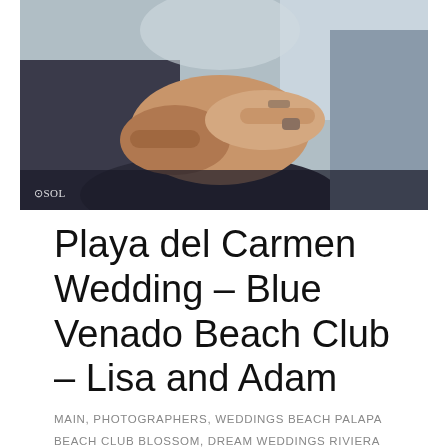[Figure (photo): Close-up photo of two people clasping hands, one in a suit, with a watermark reading 'SOL' in the lower left corner.]
Playa del Carmen Wedding – Blue Venado Beach Club – Lisa and Adam
MAIN, PHOTOGRAPHERS, WEDDINGS BEACH PALAPA BEACH CLUB BLOSSOM, DREAM WEDDINGS RIVIERA MAYA, DREAMS COORDINATORS, SARA TAMARGO MAKE-UP SOL TAMARGO OFF-SITE 50 – 100 6 BLUE VENADO BEACH CLUB